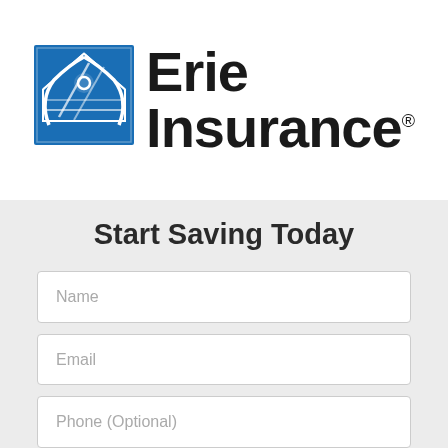[Figure (logo): Erie Insurance logo with blue house/eagle icon and 'Erie Insurance' text with registered trademark symbol]
Start Saving Today
Name
Email
Phone (Optional)